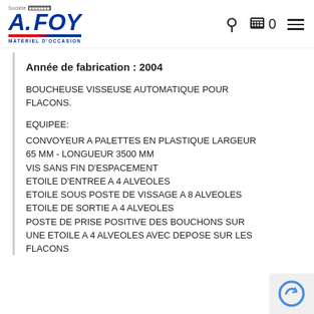[Figure (logo): A. FOY logo — Société A. FOY, Matériel d'Occasion, with blue italic text and red-blue underline stripe]
Année de fabrication : 2004
BOUCHEUSE VISSEUSE AUTOMATIQUE POUR FLACONS.

EQUIPEE:
CONVOYEUR A PALETTES EN PLASTIQUE LARGEUR 65 MM - LONGUEUR 3500 MM
VIS SANS FIN D'ESPACEMENT
ETOILE D'ENTREE A 4 ALVEOLES
ETOILE SOUS POSTE DE VISSAGE A 8 ALVEOLES
ETOILE DE SORTIE A 4 ALVEOLES
POSTE DE PRISE POSITIVE DES BOUCHONS SUR UNE ETOILE A 4 ALVEOLES AVEC DEPOSE SUR LES FLACONS